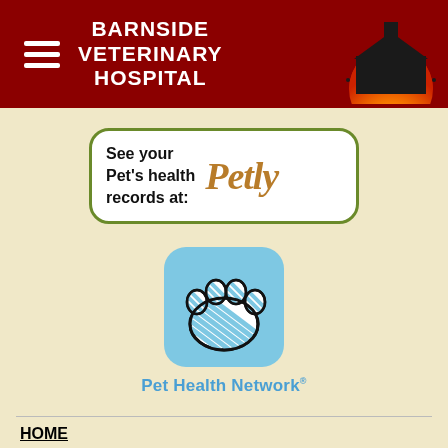BARNSIDE VETERINARY HOSPITAL
[Figure (logo): Petly banner with green border, white background, bold text 'See your Pet's health records at:' and stylized 'Petly' logo in golden/brown handwritten font]
[Figure (logo): Pet Health Network app icon: blue rounded square with paw print cloud logo, and text 'Pet Health Network' in blue below]
HOME
On our Home page you can take a virtual tour of Barnside